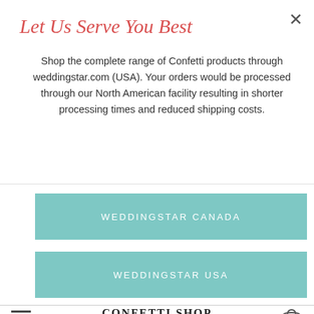Let Us Serve You Best
Shop the complete range of Confetti products through weddingstar.com (USA). Your orders would be processed through our North American facility resulting in shorter processing times and reduced shipping costs.
WEDDINGSTAR CANADA
WEDDINGSTAR USA
[Figure (logo): CONFETTI SHOP logo with tagline 'Partnered with Weddingstar']
[Figure (other): Shopping cart icon with badge showing 0]
Free Shipping On Orders Over £59 *UK Mainland and most European countries more +
[Figure (photo): Photo of wedding decorations with greenery and white flowers on a wooden surface]